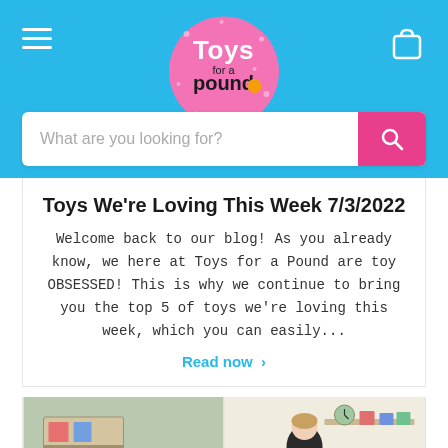Toys for a Pound — navigation header with logo, hamburger menu, shopping bag icon, and search bar
Toys We're Loving This Week 7/3/2022
Welcome back to our blog! As you already know, we here at Toys for a Pound are toy OBSESSED! This is why we continue to bring you the top 5 of toys we're loving this week, which you can easily...
Read now >
[Figure (photo): Split photo showing a shelving unit with colourful boxes and toys on the left, and a woman with a child at a table on the right]